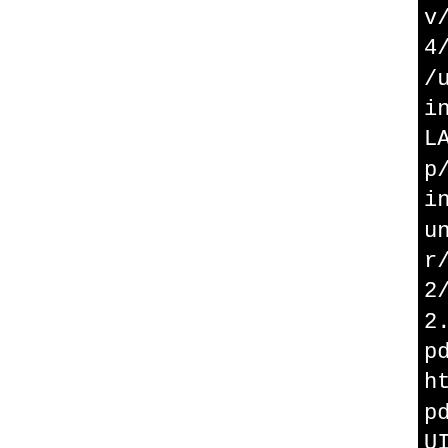v/main -prefer-non-pic -s
4/BUILD/httpd-2.2.32/serve
/usr/share/apr/build-1/lib
inux-gcc -pthread -O2 -ma
LARGEFILE64_SOURCE -DMAX_S
p/B.1d89029a-e3a4-4ed0-bd3
include -I/tmp/B.1d89029a-
unix -I/tmp/B.1d89029a-e3a
r/mpm/worker -I/tmp/B.1d89
2/modules/http -I/tmp/B.1d
2.32/modules/filters -I/tm
pd-2.2.32/modules/proxy -I
httpd-2.2.32/include -I/tm
pd-2.2.32/modules/generate
UILD/httpd-2.2.32/modules/
4d4/BUILD/httpd-2.2.32/mod
r-util -I/usr/include -I/t
tpd-2.2.32/buildmpm-worke
4d4/BUILD/httpd-2.2.32/mod
I/tmp/B.1d89029a-e3a4-4ed0
-I/tmp/B.1d89029a-e3a4-4ed
v/main -prefer-non-pic -si
4/BUILD/httpd-2.2.32/serve
/usr/share/apr/build-1/lib